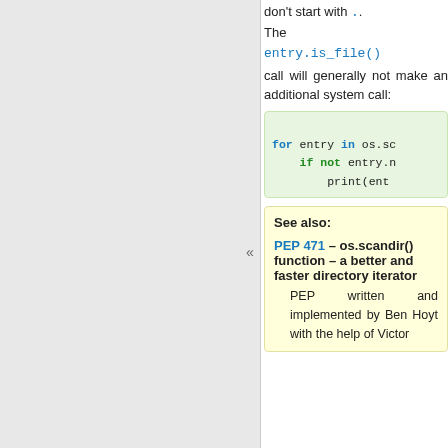don't start with .. The entry.is_file() call will generally not make an additional system call:
for entry in os.sc
    if not entry.n
        print(ent
See also:
PEP 471 – os.scandir() function – a better and faster directory iterator
PEP written and implemented by Ben Hoyt with the help of Victor